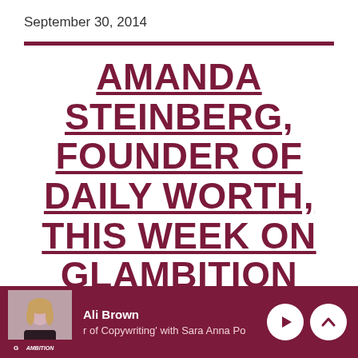September 30, 2014
AMANDA STEINBERG, FOUNDER OF DAILY WORTH, THIS WEEK ON GLAMBITION RADIO WITH ALI BROWN
[Figure (other): Media player bar showing Ali Brown host thumbnail with Glambition logo, host name 'Ali Brown', episode subtitle 'r of Copywriting' with Sara Anna Po', and playback control buttons (play and chevron up) on dark maroon background.]